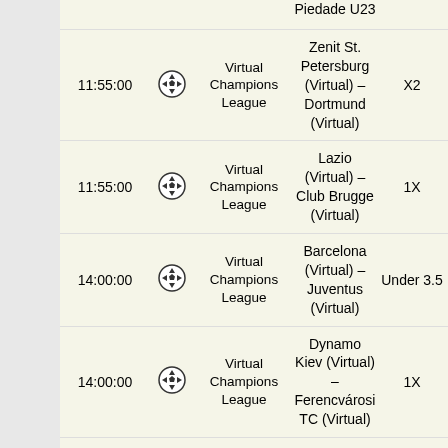| Time | Sport | League | Match | Bet |
| --- | --- | --- | --- | --- |
|  |  |  | Piedade U23 |  |
| 11:55:00 | ⚽ | Virtual Champions League | Zenit St. Petersburg (Virtual) – Dortmund (Virtual) | X2 |
| 11:55:00 | ⚽ | Virtual Champions League | Lazio (Virtual) – Club Brugge (Virtual) | 1X |
| 14:00:00 | ⚽ | Virtual Champions League | Barcelona (Virtual) – Juventus (Virtual) | Under 3.5 |
| 14:00:00 | ⚽ | Virtual Champions League | Dynamo Kiev (Virtual) – Ferencvárosi TC (Virtual) | 1X |
| 14:00:00 | ⚽ | Virtual Champions | PSG (Virtual) – Istanbul | Over 2.5 |